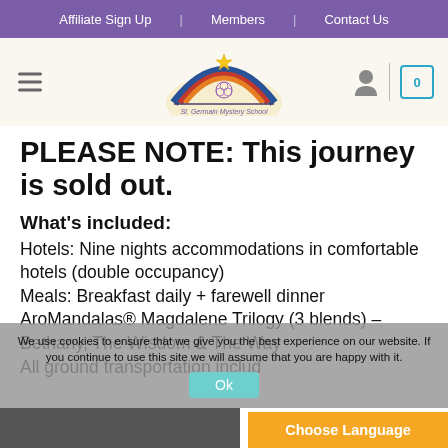Affiliate Sign Up | Members | Contact Us
[Figure (logo): St. Germain Mystery School logo — rainbow arc with star, above text 'St. Germain Mystery School']
PLEASE NOTE: This journey is sold out.
What's included:
Hotels: Nine nights accommodations in comfortable hotels (double occupancy)
Meals: Breakfast daily + farewell dinner
AroMandalas® Magdalene Trilogy (3 blends) – Bethany, The Wisdom & The Way
All ground transportation includ…
We use cookies to ensure that we give you the best experience on our website. If you continue to use this site we will assume that you are happy with it.
Ok
Choose Language